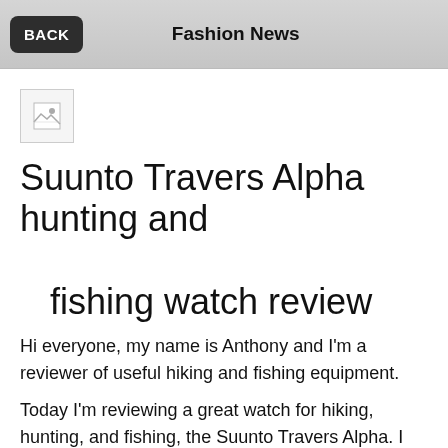BACK  Fashion News
[Figure (illustration): Broken/placeholder image icon in a small box]
Suunto Travers Alpha hunting and fishing watch review
Hi everyone, my name is Anthony and I'm a reviewer of useful hiking and fishing equipment.
Today I'm reviewing a great watch for hiking, hunting, and fishing, the Suunto Travers Alpha. I already talked about this watch in one of my previous articles. But today I want to take a closer look at this watch from the user side since I've been using it for the second month now and I have a lot to tell you.